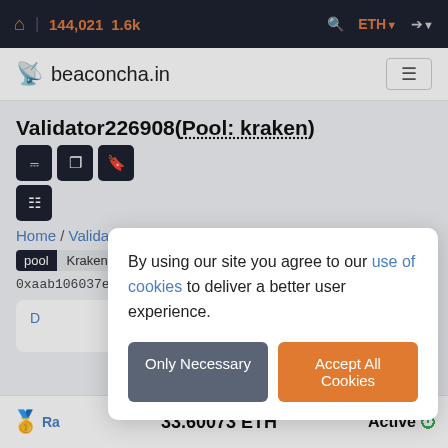🏠 | 144,021 1.6k  🔍 ETH ➡
beaconcha.in
Validator226908(Pool: kraken)
Home / Validators / Validator details
pool Kraken  pool Kraken
0xaab106037e7bbb4805381f8a7970a3d375ee51…
By using our site you agree to our use of cookies to deliver a better user experience.
Only Necessary  Accept All Cookies
33.60073 ETH  Active